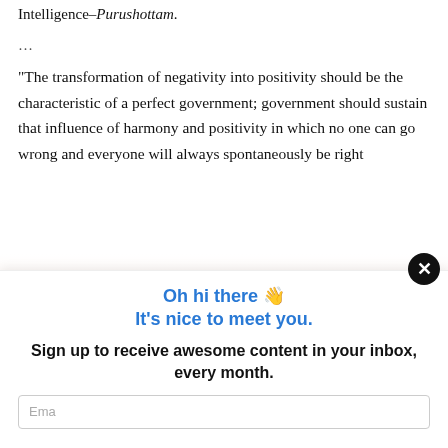Intelligence–Purushottam.
...
“The transformation of negativity into positivity should be the characteristic of a perfect government; government should sustain that influence of harmony and positivity in which no one can go wrong and everyone will always spontaneously be right
Oh hi there 👋
It's nice to meet you.
Sign up to receive awesome content in your inbox, every month.